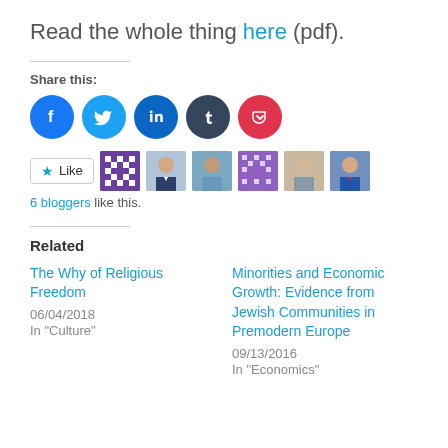Read the whole thing here (pdf).
Share this:
[Figure (infographic): Row of five social sharing buttons: Facebook (blue), Twitter (light blue), LinkedIn (dark blue), Tumblr (dark navy), Pocket (red)]
[Figure (infographic): Like button with star icon followed by 6 blogger avatar thumbnails]
6 bloggers like this.
Related
The Why of Religious Freedom
06/04/2018
In "Culture"
Minorities and Economic Growth: Evidence from Jewish Communities in Premodern Europe
09/13/2016
In "Economics"